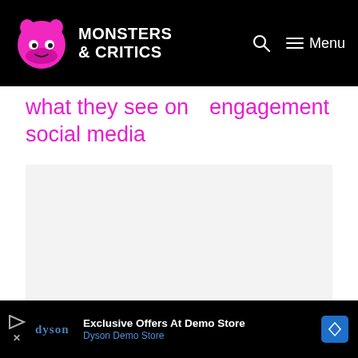Monsters & Critics — Menu
what they see on social media   engagement
[Figure (other): Gray advertisement placeholder box]
Exclusive Offers At Demo Store — Dyson Demo Store